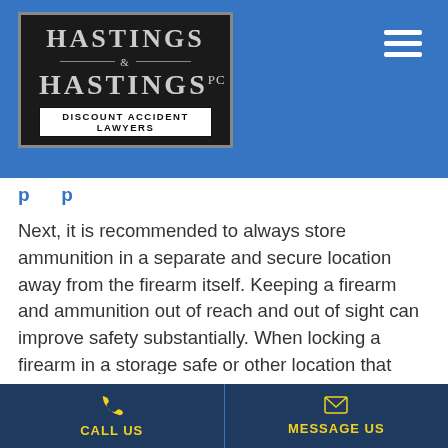[Figure (logo): Hastings & Hastings PC — Discount Accident Lawyers logo on dark background with blue navigation bar]
Next, it is recommended to always store ammunition in a separate and secure location away from the firearm itself. Keeping a firearm and ammunition out of reach and out of sight can improve safety substantially. When locking a firearm in a storage safe or other location that requires a key or combination it is recommended to keep keys and combinations well hidden. Preventing accidents when it comes to owning a firearm is often as easy as using good old-fashioned common sense.
CALL US | MESSAGE US